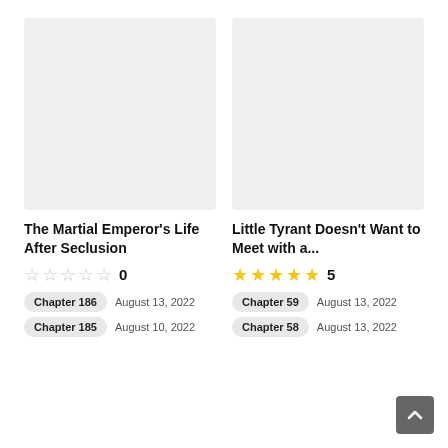[Figure (illustration): Gray placeholder image for book cover of The Martial Emperor's Life After Seclusion]
The Martial Emperor's Life After Seclusion
0 stars rating: 0
Chapter 186  August 13, 2022
Chapter 185  August 10, 2022
[Figure (illustration): Gray placeholder image for book cover of Little Tyrant Doesn't Want to Meet with a...]
Little Tyrant Doesn't Want to Meet with a...
5 stars rating: 5
Chapter 59  August 13, 2022
Chapter 58  August 13, 2022